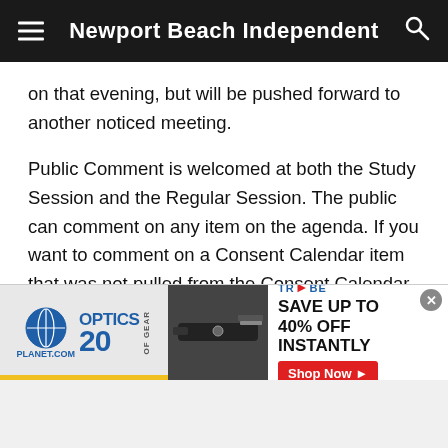Newport Beach Independent
on that evening, but will be pushed forward to another noticed meeting.

Public Comment is welcomed at both the Study Session and the Regular Session. The public can comment on any item on the agenda. If you want to comment on a Consent Calendar item that was not pulled from the Consent Calendar by a Council Member, you will want to do so at the time listed on the agenda – right before the Council votes on the entire Consent Calendar (it's Roman Numeral XIII on the posted agenda).
[Figure (screenshot): Advertisement banner for OpticsPlanet 20 Years of Gear featuring a rifle image and Tribe logo with text: SAVE UP TO 40% OFF INSTANTLY and a Shop Now button]